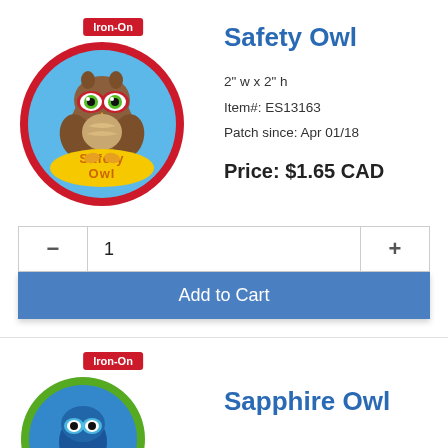[Figure (photo): Safety Owl embroidered patch — circular with red border, brown owl wearing red glasses, yellow text 'Safety Owl' on blue background. Red 'Iron-On' badge above.]
Safety Owl
2" w x 2" h
Item#: ES13163
Patch since: Apr 01/18
Price: $1.65 CAD
1
Add to Cart
[Figure (photo): Sapphire Owl embroidered patch — circular with green border, partially visible. Red 'Iron-On' badge above.]
Sapphire Owl